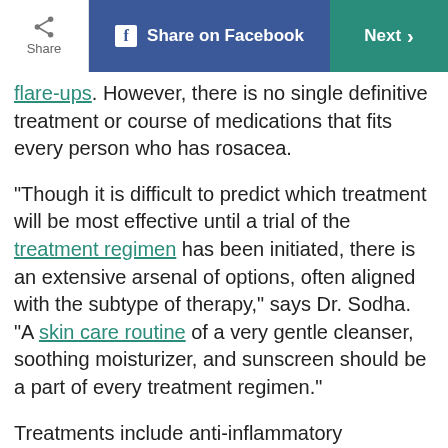Share | Share on Facebook | Next
flare-ups. However, there is no single definitive treatment or course of medications that fits every person who has rosacea.
“Though it is difficult to predict which treatment will be most effective until a trial of the treatment regimen has been initiated, there is an extensive arsenal of options, often aligned with the subtype of therapy,” says Dr. Sodha. “A skin care routine of a very gentle cleanser, soothing moisturizer, and sunscreen should be a part of every treatment regimen.”
Treatments include anti-inflammatory